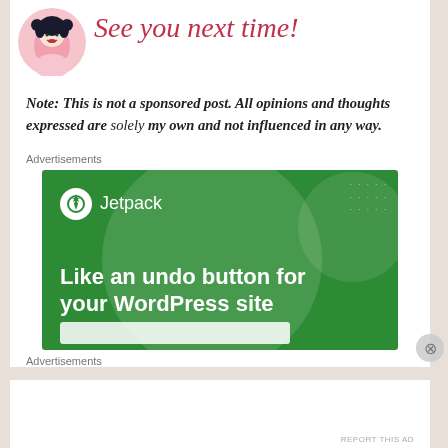See you next time!
Note: This is not a sponsored post. All opinions and thoughts expressed are solely my own and not influenced in any way.
Advertisements
[Figure (screenshot): Jetpack advertisement banner with green background showing text 'Like an undo button for your WordPress site' with Jetpack logo]
Advertisements